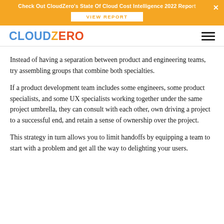Check Out CloudZero's State Of Cloud Cost Intelligence 2022 Report
VIEW REPORT
CLOUDZERO
Instead of having a separation between product and engineering teams, try assembling groups that combine both specialties.
If a product development team includes some engineers, some product specialists, and some UX specialists working together under the same project umbrella, they can consult with each other, own driving a project to a successful end, and retain a sense of ownership over the project.
This strategy in turn allows you to limit handoffs by equipping a team to start with a problem and get all the way to delighting your users.